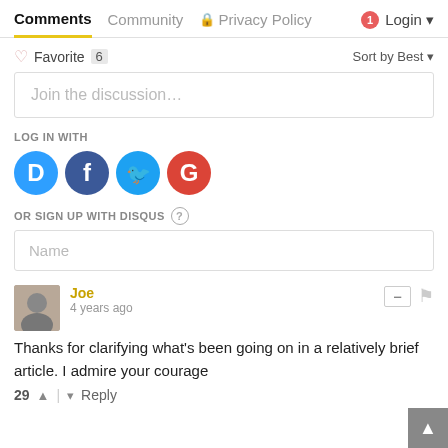Comments  Community  Privacy Policy  Login
♡ Favorite  6    Sort by Best
Join the discussion...
LOG IN WITH
[Figure (logo): Social login icons: Disqus (blue), Facebook (dark blue), Twitter (light blue), Google (red)]
OR SIGN UP WITH DISQUS ?
Name
Joe
4 years ago
Thanks for clarifying what's been going on in a relatively brief article. I admire your courage
29  ^  |  v  Reply